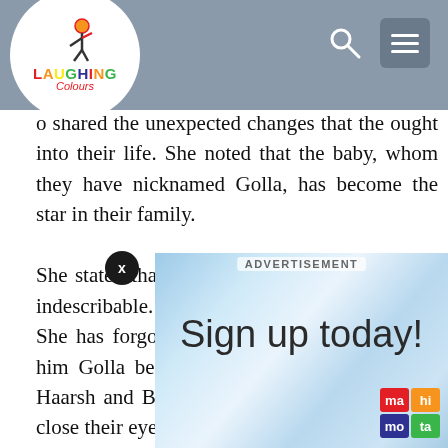Laughing Colours website header with logo, search and menu icons
o shared the unexpected changes that the ought into their life. She noted that the baby, whom they have nicknamed Golla, has become the star in their family.

She stated that it's a very different feeling. It's indescribable. You always want to see the baby. She has forgotten the world. The couple calls him Golla because he is golu-molu (cuddly). Haarsh and Bharti see his face whenever they close their eyes, so he has become quite famous to them. Today she can understand why their parents cared for them. It's a very lovely feeling. Both of them came home looking at him and photo sessions in one go. It's great.
[Figure (screenshot): Advertisement banner with blue geometric background showing 'Sign up today!' text and Ma Ta logo]
ADVERTISEMENT